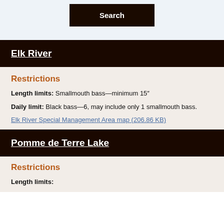[Figure (screenshot): Search button at top of page]
Elk River
Restrictions
Length limits: Smallmouth bass—minimum 15"
Daily limit: Black bass—6, may include only 1 smallmouth bass.
Elk River Special Management Area map (206.86 KB)
Pomme de Terre Lake
Restrictions
Length limits: